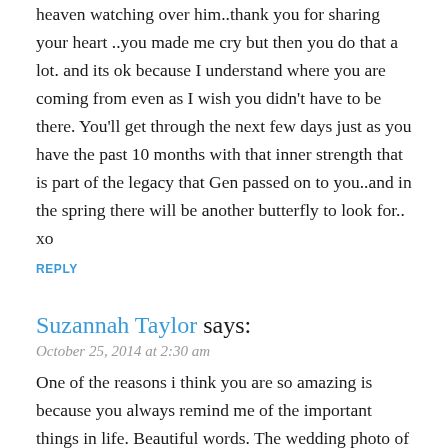heaven watching over him..thank you for sharing your heart ..you made me cry but then you do that a lot. and its ok because I understand where you are coming from even as I wish you didn't have to be there. You'll get through the next few days just as you have the past 10 months with that inner strength that is part of the legacy that Gen passed on to you..and in the spring there will be another butterfly to look for.. xo
REPLY
Suzannah Taylor says:
October 25, 2014 at 2:30 am
One of the reasons i think you are so amazing is because you always remind me of the important things in life. Beautiful words. The wedding photo of your grandparents is just terrific. Enjoy being with your family celebrating life and new beginnings xxx
REPLY